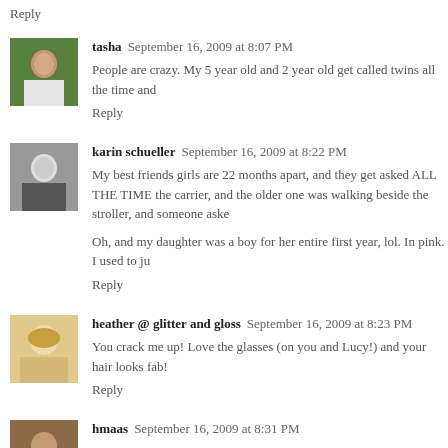Reply
[Figure (photo): Avatar photo of tasha, outdoor green background]
tasha  September 16, 2009 at 8:07 PM
People are crazy. My 5 year old and 2 year old get called twins all the time and
Reply
[Figure (photo): Avatar photo of karin schueller, black and white]
karin schueller  September 16, 2009 at 8:22 PM
My best friends girls are 22 months apart, and they get asked ALL THE TIME the carrier, and the older one was walking beside the stroller, and someone aske
Oh, and my daughter was a boy for her entire first year, lol. In pink. I used to ju
Reply
[Figure (photo): Avatar photo of heather, blonde hair]
heather @ glitter and gloss  September 16, 2009 at 8:23 PM
You crack me up! Love the glasses (on you and Lucy!) and your hair looks fab!
Reply
[Figure (photo): Avatar photo of hmaas, brunette]
hmaas  September 16, 2009 at 8:31 PM